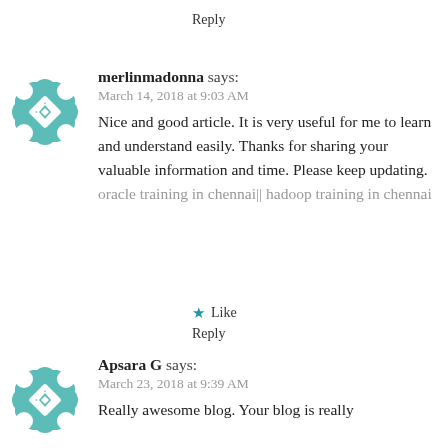Reply
merlinmadonna says:
March 14, 2018 at 9:03 AM
Nice and good article. It is very useful for me to learn and understand easily. Thanks for sharing your valuable information and time. Please keep updating. oracle training in chennai|| hadoop training in chennai
Like
Reply
Apsara G says:
March 23, 2018 at 9:39 AM
Really awesome blog. Your blog is really